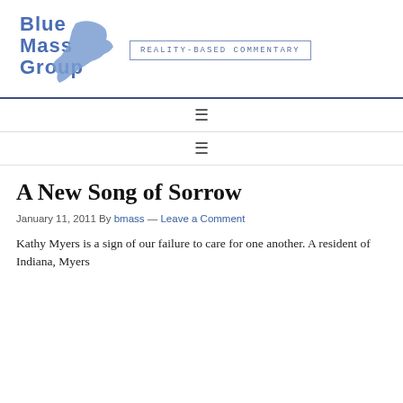[Figure (logo): Blue Mass Group logo — stylized text 'Blue Mass Group' in blue with a sketched Massachusetts state outline graphic]
REALITY-BASED COMMENTARY
A New Song of Sorrow
January 11, 2011 By bmass — Leave a Comment
Kathy Myers is a sign of our failure to care for one another. A resident of Indiana, Myers